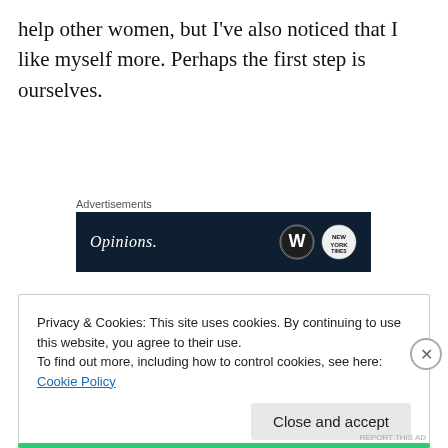help other women, but I've also noticed that I like myself more. Perhaps the first step is ourselves.
Advertisements
[Figure (screenshot): Dark navy advertisement banner with text 'Opinions.' in white italic font on the left and WordPress and New York Times logos on the right]
Privacy & Cookies: This site uses cookies. By continuing to use this website, you agree to their use.
To find out more, including how to control cookies, see here: Cookie Policy
Close and accept